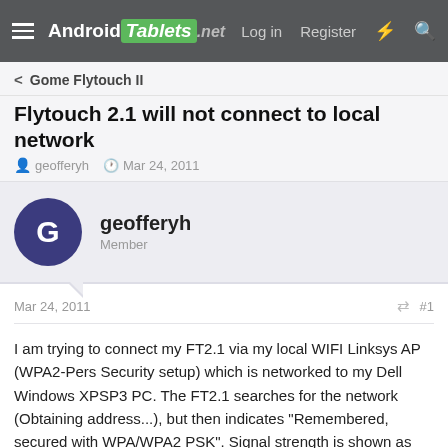Android Tablets .net  Log in  Register
< Gome Flytouch II
Flytouch 2.1 will not connect to local network
geofferyh · Mar 24, 2011
geofferyh
Member
Mar 24, 2011  #1
I am trying to connect my FT2.1 via my local WIFI Linksys AP (WPA2-Pers Security setup) which is networked to my Dell Windows XPSP3 PC. The FT2.1 searches for the network (Obtaining address...), but then indicates "Remembered, secured with WPA/WPA2 PSK". Signal strength is shown as "Excelent".